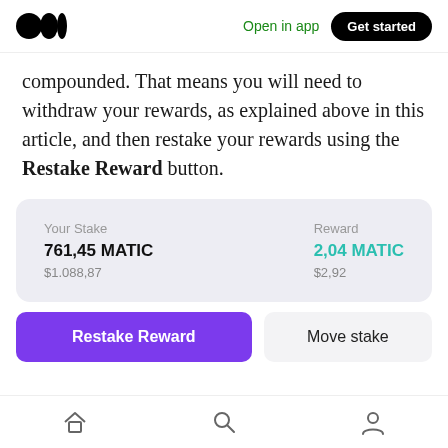Open in app | Get started
compounded. That means you will need to withdraw your rewards, as explained above in this article, and then restake your rewards using the Restake Reward button.
[Figure (screenshot): App UI card showing Your Stake: 761,45 MATIC / $1.088,87 and Reward: 2,04 MATIC / $2,92]
[Figure (screenshot): Buttons: Restake Reward (purple) and Move stake (light gray)]